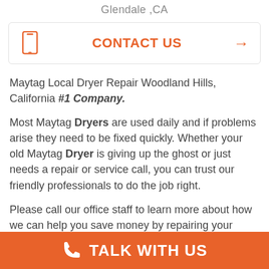Glendale ,CA
CONTACT US →
Maytag Local Dryer Repair Woodland Hills, California #1 Company.
Most Maytag Dryers are used daily and if problems arise they need to be fixed quickly. Whether your old Maytag Dryer is giving up the ghost or just needs a repair or service call, you can trust our friendly professionals to do the job right.
Please call our office staff to learn more about how we can help you save money by repairing your
TALK WITH US